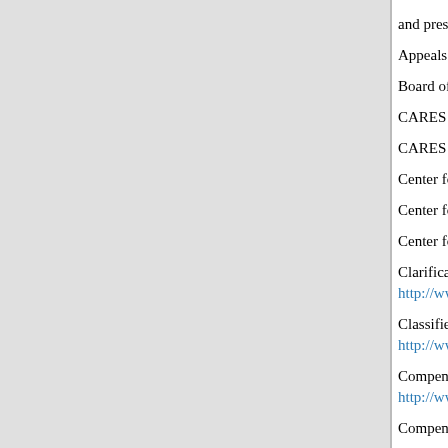and press for your rights
Appeals http://www.w...
Board of Veteran's Ap...
CARES Commission...
CARES Draft Nationa...
Center for Minority V...
Center for Veterans En...
Center for Women Ve...
Clarification on the ch... http://www.gulfwarve...
Classified Records - A... http://www.gulfwarve...
Compensation for Dis... http://www.warms.vba...
Compensation Rate Ta...
Department of Vetera...
Directory of Veterans...